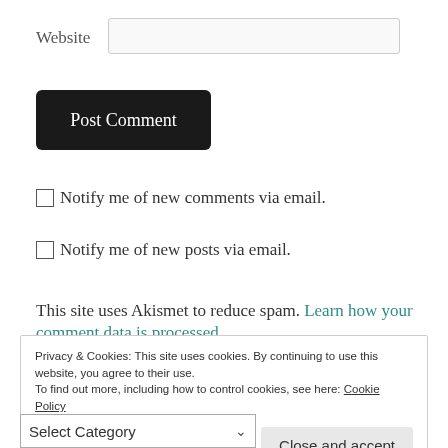Website
Post Comment
Notify me of new comments via email.
Notify me of new posts via email.
This site uses Akismet to reduce spam. Learn how your comment data is processed
Privacy & Cookies: This site uses cookies. By continuing to use this website, you agree to their use.
To find out more, including how to control cookies, see here: Cookie Policy
Close and accept
Select Category